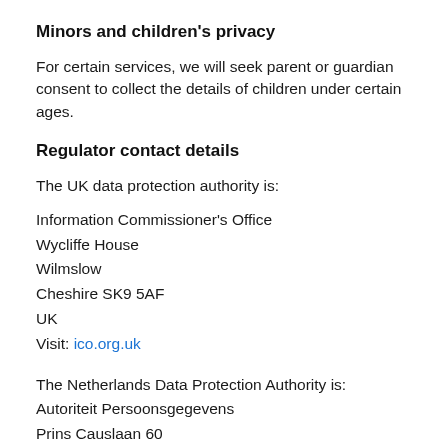Minors and children's privacy
For certain services, we will seek parent or guardian consent to collect the details of children under certain ages.
Regulator contact details
The UK data protection authority is:
Information Commissioner's Office
Wycliffe House
Wilmslow
Cheshire SK9 5AF
UK
Visit: ico.org.uk
The Netherlands Data Protection Authority is:
Autoriteit Persoonsgegevens
Prins Causlaan 60